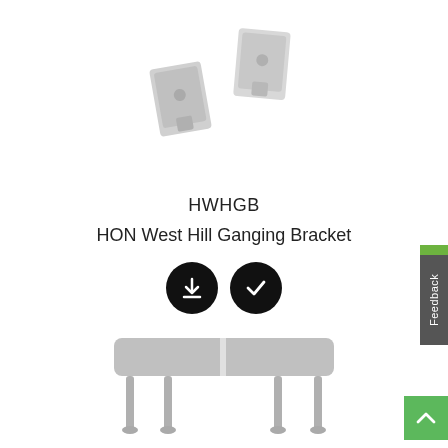[Figure (photo): Two light grey metal ganging bracket hardware pieces shown from above at an angle, floating on white background]
HWHGB
HON West Hill Ganging Bracket
[Figure (illustration): Two black circular icon buttons: a download arrow icon and a checkmark icon]
[Figure (photo): Light grey two-seat bench with rounded rectangular cushion top and four thin metal legs, shown at a slight angle]